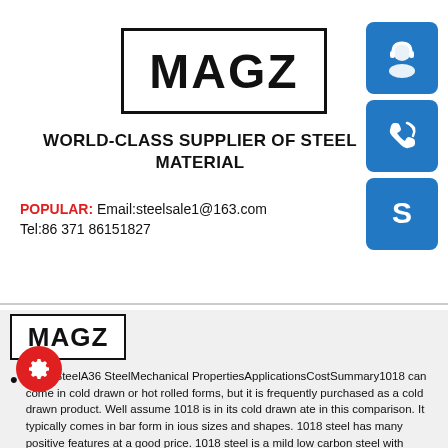[Figure (logo): MAGZ logo in bold black text inside a rectangular border, centered at top]
[Figure (illustration): Three blue square icon buttons on the right side: headset/support icon, phone icon, and Skype icon]
WORLD-CLASS SUPPLIER OF STEEL MATERIAL
POPULAR: Email:steelsale1@163.com
Tel:86 371 86151827
[Figure (logo): MAGZ logo small, bottom-left, bold black text in rectangular border]
1018 SteelA36 SteelMechanical PropertiesApplicationsCostSummary1018 can come in cold drawn or hot rolled forms, but it is frequently purchased as a cold drawn product. Well assume 1018 is in its cold drawn state in this comparison. It typically comes in bar form in various sizes and shapes. 1018 steel has many positive features at a good price. 1018 steel is a mild low carbon steel with good ductility, toughness and strength qualities. 1018